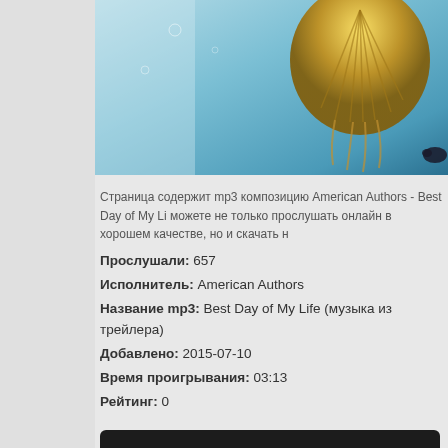[Figure (illustration): Album art with underwater/jellyfish scene in blue-green tones with golden shell]
Страница содержит mp3 композицию American Authors - Best Day of My Li... можете не только прослушать онлайн в хорошем качестве, но и скачать н...
Прослушали: 657
Исполнитель: American Authors
Название mp3: Best Day of My Life (музыка из трейлера)
Добавлено: 2015-07-10
Время проигрывания: 03:13
Рейтинг: 0
[Figure (screenshot): Audio player bar with play, rewind buttons, time 0:00, progress bar, and 0:00x]
СКАЧАТЬ
Все песни исполнителя American Authors
Текст песни:
I had a dream so big and loud
I jumped so high I touched the clouds
Wo-o-o-o-o-oh x2
I stretched my hands out to the sky...